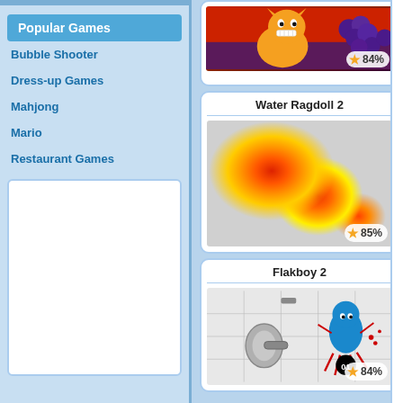Popular Games
Bubble Shooter
Dress-up Games
Mahjong
Mario
Restaurant Games
[Figure (other): Empty white sidebar box / advertisement placeholder]
[Figure (screenshot): Partially visible game card showing an animated orange cartoon cat grinning next to purple grapes on a red-purple background. Rating badge shows 84%.]
[Figure (screenshot): Water Ragdoll 2 game card. Shows a heatmap visualization with orange/red radial blobs on a gray background. Rating badge shows 85%.]
Water Ragdoll 2
[Figure (screenshot): Flakboy 2 game card. Shows a blue cartoon character being hit, with a cannon/shield on the left, grid background, red splatter effects, and a score circle reading 01. Rating badge shows 84%.]
Flakboy 2